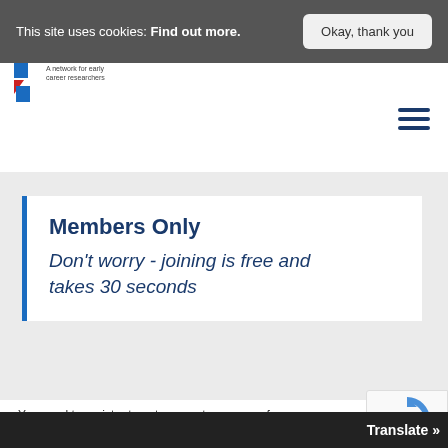This site uses cookies: Find out more.  Okay, thank you
[Figure (logo): Network for early career researchers logo with blue and red arrow shapes and text 'A network for early career researchers']
Members Only
Don't worry - joining is free and takes 30 seconds
You need to register to get access to a range of gr... benefits, but don't worry, it is absolutley f... just 30 seconds – if you regsiter you can...